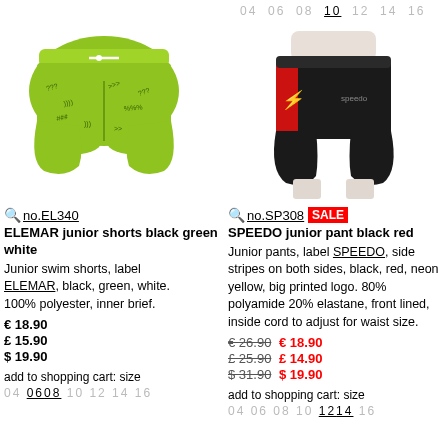04 06 08 10 12 14 16 (top size row)
[Figure (photo): ELEMAR junior swim shorts, black green white pattern, with drawstring]
[Figure (photo): SPEEDO junior pant, black with red stripe and gold logo, on mannequin]
no.EL340 ELEMAR junior shorts black green white. Junior swim shorts, label ELEMAR, black, green, white. 100% polyester, inner brief. € 18.90 £ 15.90 $ 19.90 add to shopping cart: size 04 06 08 10 12 14 16
no.SP308 SALE SPEEDO junior pant black red. Junior pants, label SPEEDO, side stripes on both sides, black, red, neon yellow, big printed logo. 80% polyamide 20% elastane, front lined, inside cord to adjust for waist size. € 26.90 € 18.90 £ 25.90 £ 14.90 $ 31.90 $ 19.90 add to shopping cart: size 04 06 08 10 12 14 16